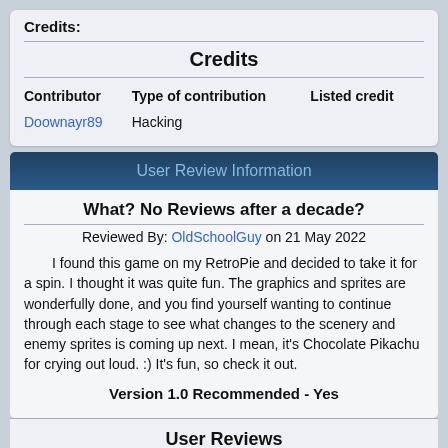Credits:
Credits
| Contributor | Type of contribution | Listed credit |
| --- | --- | --- |
| Doownayr89 | Hacking |  |
User Review Information
What? No Reviews after a decade?
Reviewed By: OldSchoolGuy on 21 May 2022
I found this game on my RetroPie and decided to take it for a spin. I thought it was quite fun. The graphics and sprites are wonderfully done, and you find yourself wanting to continue through each stage to see what changes to the scenery and enemy sprites is coming up next. I mean, it's Chocolate Pikachu for crying out loud. :) It's fun, so check it out.
Version 1.0 Recommended - Yes
User Reviews